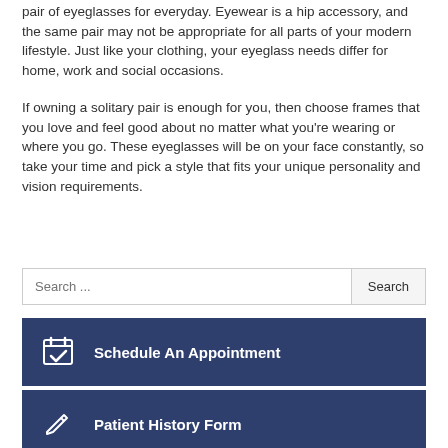pair of eyeglasses for everyday. Eyewear is a hip accessory, and the same pair may not be appropriate for all parts of your modern lifestyle. Just like your clothing, your eyeglass needs differ for home, work and social occasions.
If owning a solitary pair is enough for you, then choose frames that you love and feel good about no matter what you're wearing or where you go. These eyeglasses will be on your face constantly, so take your time and pick a style that fits your unique personality and vision requirements.
Search ...
Schedule An Appointment
Patient History Form
Email Us